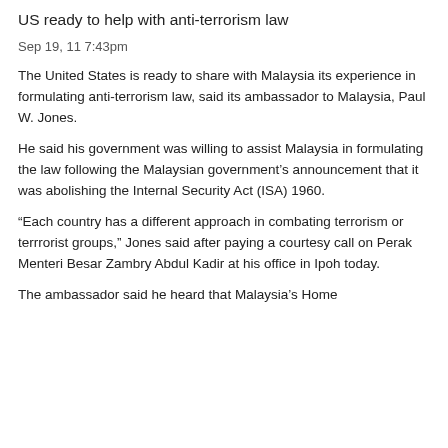US ready to help with anti-terrorism law
Sep 19, 11 7:43pm
The United States is ready to share with Malaysia its experience in formulating anti-terrorism law, said its ambassador to Malaysia, Paul W. Jones.
He said his government was willing to assist Malaysia in formulating the law following the Malaysian government's announcement that it was abolishing the Internal Security Act (ISA) 1960.
“Each country has a different approach in combating terrorism or terrrorist groups,” Jones said after paying a courtesy call on Perak Menteri Besar Zambry Abdul Kadir at his office in Ipoh today.
The ambassador said he heard that Malaysia’s Home